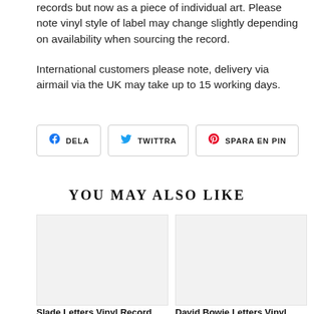records but now as a piece of individual art. Please note vinyl style of label may change slightly depending on availability when sourcing the record.
International customers please note, delivery via airmail via the UK may take up to 15 working days.
[Figure (other): Three social sharing buttons: Facebook DELA, Twitter TWITTRA, Pinterest SPARA EN PIN]
YOU MAY ALSO LIKE
[Figure (other): Product image placeholder for Slade Letters Vinyl Record Art - Set of 5]
Slade Letters Vinyl Record Art - Set of 5
[Figure (other): Product image placeholder for David Bowie Letters Vinyl Record Art - Set of]
David Bowie Letters Vinyl Record Art - Set of